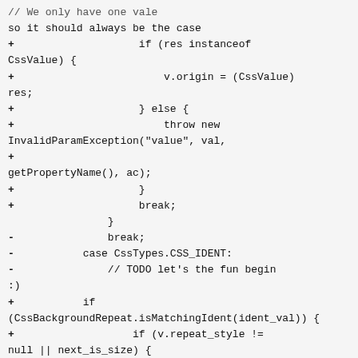// We only have one vale
so it should always be the case
+                    if (res instanceof
CssValue) {
+                        v.origin = (CssValue)
res;
+                    } else {
+                        throw new
InvalidParamException("value", val,
+
getPropertyName(), ac);
+                    }
+                    break;
                }
-               break;
-           case CssTypes.CSS_IDENT:
-               // TODO let's the fun begin
:)
+           if
(CssBackgroundRepeat.isMatchingIdent(ident_val)) {
+                   if (v.repeat_style !=
null || next_is_size) {
+                       throw new
InvalidParamException("value", val,
+
getPropertyName(), ac);
+                   }
+                   res =
getCssBackgroundRepeatValue(ac, expression,
check);